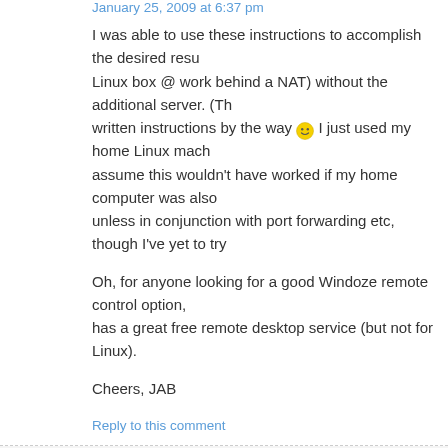January 25, 2009 at 6:37 pm
I was able to use these instructions to accomplish the desired result (connect from home to my Linux box @ work behind a NAT) without the additional server. (Thanks for the well-written instructions by the way 🙂 I just used my home Linux machine as the server. I assume this wouldn't have worked if my home computer was also behind NAT, unless in conjunction with port forwarding etc, though I've yet to try.
Oh, for anyone looking for a good Windoze remote control option, has a great free remote desktop service (but not for Linux).
Cheers, JAB
Reply to this comment
Alexander Sandler says:
January 25, 2009 at 10:57 am
@Jacob Boyko
Jacob, I am glad you found this useful 🙂 Please visit my web-site
Reply to this comment